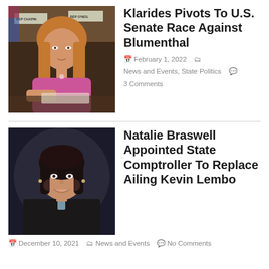[Figure (photo): Woman with blonde hair wearing pink top, seated at a desk in what appears to be a legislative chamber, writing. Signs in background read REP CHAPIN and REP ONEIL.]
Klarides Pivots To U.S. Senate Race Against Blumenthal
February 1, 2022   News and Events, State Politics   3 Comments
[Figure (photo): Woman with dark hair smiling, wearing a dark blazer, photographed in a dark setting.]
Natalie Braswell Appointed State Comptroller To Replace Ailing Kevin Lembo
December 10, 2021   News and Events   No Comments